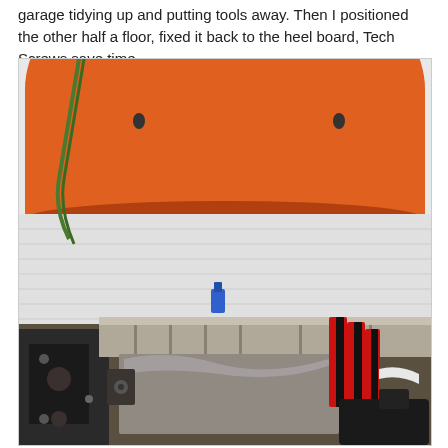garage tidying up and putting tools away. Then I positioned the other half a floor, fixed it back to the heel board, Tech Screws save time.
[Figure (photo): A photograph showing mechanical/engineering work in a garage setting. The upper portion shows a large orange curved shell or housing (possibly a vehicle body part), and the lower portion shows metallic components including aluminum extrusions, black metal brackets, red and black striped strapping, wiring, and tools on a work surface.]